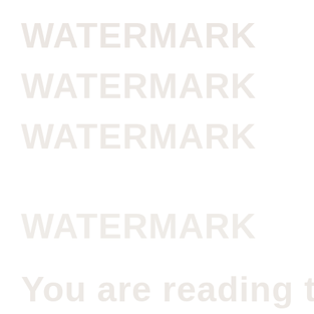[Figure (other): Faint watermark text repeated across a white background page. The watermark text appears to read repeated lines of lightly printed text in a very pale beige/cream color against white, nearly invisible. The text appears to be a repeated watermark pattern across the full page area.]